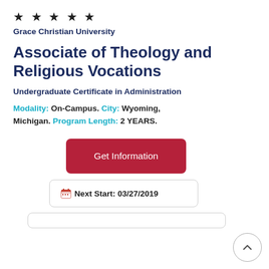★ ★ ★ ★ ★
Grace Christian University
Associate of Theology and Religious Vocations
Undergraduate Certificate in Administration
Modality: On-Campus. City: Wyoming, Michigan. Program Length: 2 YEARS.
Get Information
Next Start: 03/27/2019